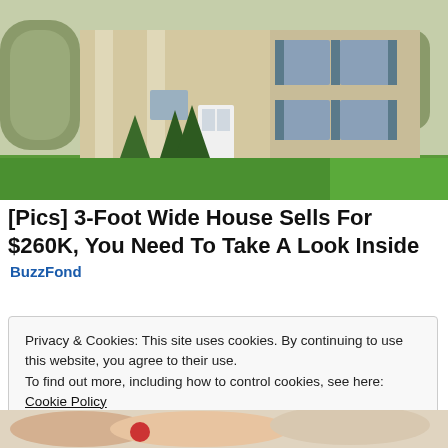[Figure (photo): Exterior photo of a two-story colonial-style house with beige/tan siding, blue shutters, white front door, evergreen shrubs, and a green lawn.]
[Pics] 3-Foot Wide House Sells For $260K, You Need To Take A Look Inside
BuzzFond
Privacy & Cookies: This site uses cookies. By continuing to use this website, you agree to their use.
To find out more, including how to control cookies, see here: Cookie Policy
Close and accept
[Figure (photo): Partial bottom strip showing a close-up image, appears to show hands or food items, cropped at the bottom of the page.]